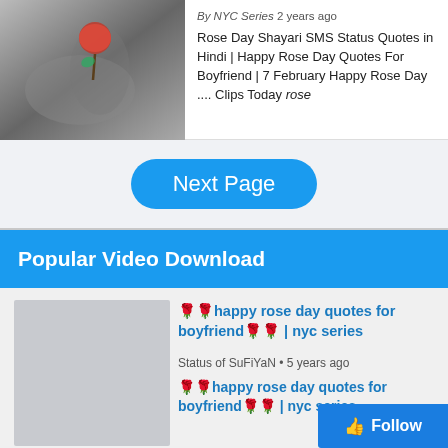[Figure (photo): Black and white photo of hands holding a red rose, with a person in background.]
By NYC Series 2 years ago
Rose Day Shayari SMS Status Quotes in Hindi | Happy Rose Day Quotes For Boyfriend | 7 February Happy Rose Day .... Clips Today rose
Next Page
Popular Video Download
[Figure (screenshot): Video thumbnail placeholder (grey box)]
🌹🌹happy rose day quotes for boyfriend🌹🌹 | nyc series
Status of SuFiYaN • 5 years ago
[Figure (screenshot): Video thumbnail placeholder (grey box)]
🌹🌹happy rose day quotes for boyfriend🌹🌹 | nyc series
Ashi Quotes • 7 months ago
[Figure (screenshot): Video thumbnail placeholder (grey box)]
🌹🌹happy rose day quotes for boyfrie... | nyc series
Follow